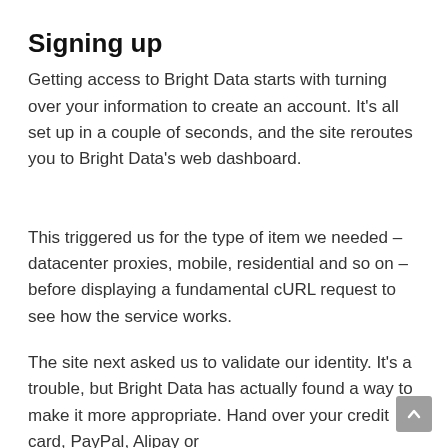Signing up
Getting access to Bright Data starts with turning over your information to create an account. It's all set up in a couple of seconds, and the site reroutes you to Bright Data's web dashboard.
This triggered us for the type of item we needed – datacenter proxies, mobile, residential and so on – before displaying a fundamental cURL request to see how the service works.
The site next asked us to validate our identity. It's a trouble, but Bright Data has actually found a way to make it more appropriate. Hand over your credit card, PayPal, Alipay or